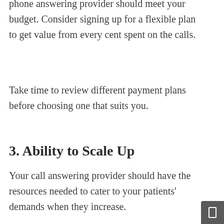phone answering provider should meet your budget. Consider signing up for a flexible plan to get value from every cent spent on the calls.
Take time to review different payment plans before choosing one that suits you.
3. Ability to Scale Up
Your call answering provider should have the resources needed to cater to your patients' demands when they increase.